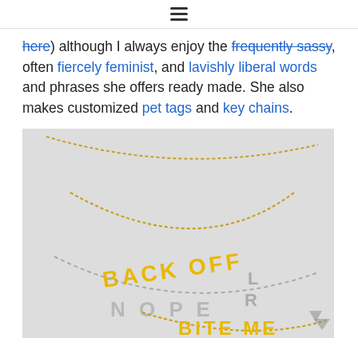≡
here) although I always enjoy the frequently sassy, often fiercely feminist, and lavishly liberal words and phrases she offers ready made. She also makes customized pet tags and key chains.
[Figure (photo): Photo of several charm necklaces on a light gray background. A gold chain necklace spells out 'BACK OFF', a silver chain spells out 'NOPE', and a gold chain spells out 'BITE ME'.]